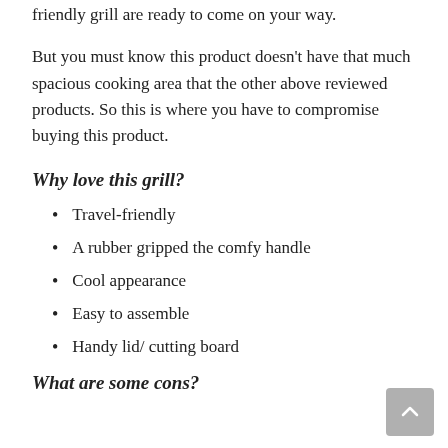friendly grill are ready to come on your way.
But you must know this product doesn’t have that much spacious cooking area that the other above reviewed products. So this is where you have to compromise buying this product.
Why love this grill?
Travel-friendly
A rubber gripped the comfy handle
Cool appearance
Easy to assemble
Handy lid/ cutting board
What are some cons?